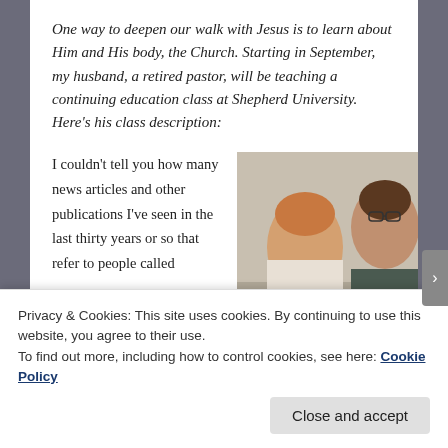One way to deepen our walk with Jesus is to learn about Him and His body, the Church. Starting in September, my husband, a retired pastor, will be teaching a continuing education class at Shepherd University. Here's his class description:
I couldn't tell you how many news articles and other publications I've seen in the last thirty years or so that refer to people called
[Figure (photo): Two young men sitting at a table, one wearing glasses and a dark sweater appears to be talking or explaining something to the other with shorter reddish hair.]
Privacy & Cookies: This site uses cookies. By continuing to use this website, you agree to their use.
To find out more, including how to control cookies, see here: Cookie Policy